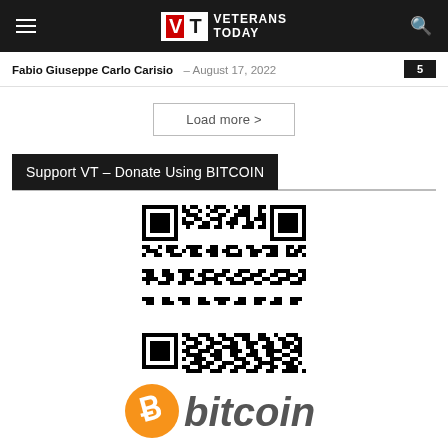Veterans Today
Fabio Giuseppe Carlo Carisio – August 17, 2022   5
Load more >
Support VT – Donate Using BITCOIN
[Figure (other): QR code for Bitcoin donations to Veterans Today]
[Figure (logo): Bitcoin logo with orange circle and 'bitcoin' in italic gray text]